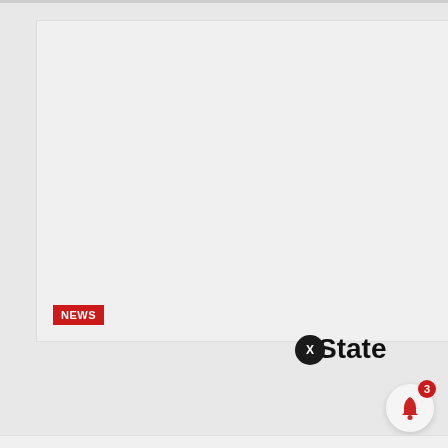[Figure (screenshot): Large gray placeholder image area representing a news article image with a red NEWS badge in the bottom left corner]
State
[Figure (screenshot): News notification card showing a thumbnail of a person in traditional attire, with headline: JUST IN: Kwara Governor Renames State Owned, timestamped 4 minutes ago]
JUST IN: Kwara Governor Renames State Owned
4 minutes ago